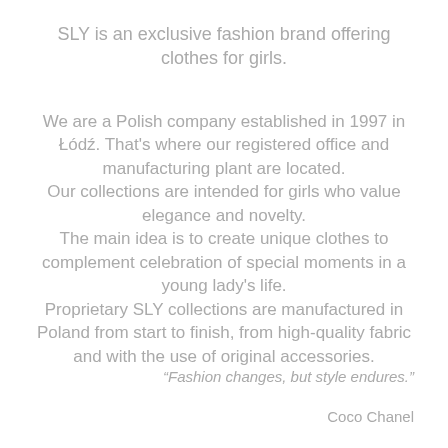SLY is an exclusive fashion brand offering clothes for girls.
We are a Polish company established in 1997 in Łódź. That's where our registered office and manufacturing plant are located. Our collections are intended for girls who value elegance and novelty. The main idea is to create unique clothes to complement celebration of special moments in a young lady's life. Proprietary SLY collections are manufactured in Poland from start to finish, from high-quality fabric and with the use of original accessories.
“Fashion changes, but style endures.”
Coco Chanel